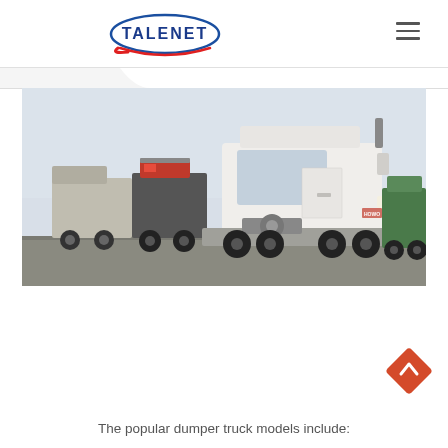TALENET
[Figure (photo): A white semi-truck tractor unit (SINOTRUK HOWO style) parked outdoors with other trucks visible in the background, including a red/white truck and a green truck. The photo is taken in a yard or lot with a hazy sky background.]
The popular dumper truck models include: